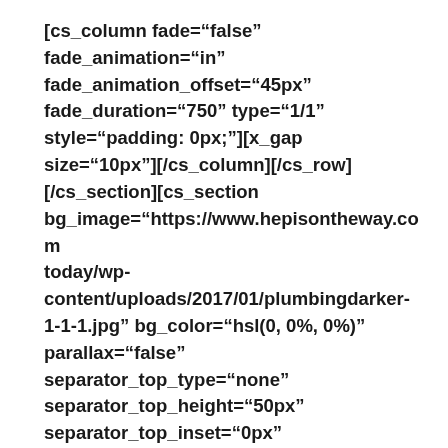[cs_column fade="false" fade_animation="in" fade_animation_offset="45px" fade_duration="750" type="1/1" style="padding: 0px;"][x_gap size="10px"][/cs_column][/cs_row][/cs_section][cs_section bg_image="https://www.hepisontheway.com/today/wp-content/uploads/2017/01/plumbingdarker-1-1-1.jpg" bg_color="hsl(0, 0%, 0%)" parallax="false" separator_top_type="none" separator_top_height="50px" separator_top_inset="0px" separator_top_angle_points="50"